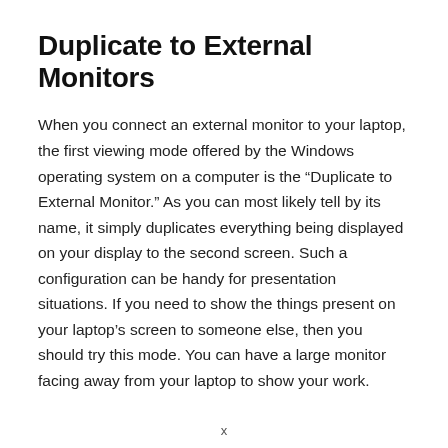Duplicate to External Monitors
When you connect an external monitor to your laptop, the first viewing mode offered by the Windows operating system on a computer is the “Duplicate to External Monitor.” As you can most likely tell by its name, it simply duplicates everything being displayed on your display to the second screen. Such a configuration can be handy for presentation situations. If you need to show the things present on your laptop’s screen to someone else, then you should try this mode. You can have a large monitor facing away from your laptop to show your work.
x